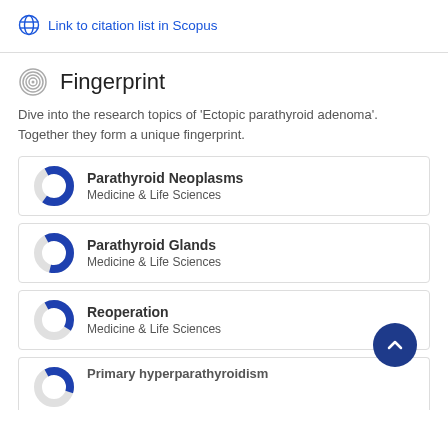Link to citation list in Scopus
Fingerprint
Dive into the research topics of 'Ectopic parathyroid adenoma'. Together they form a unique fingerprint.
Parathyroid Neoplasms — Medicine & Life Sciences
Parathyroid Glands — Medicine & Life Sciences
Reoperation — Medicine & Life Sciences
Primary hyperparathyroidism (partial, cut off)